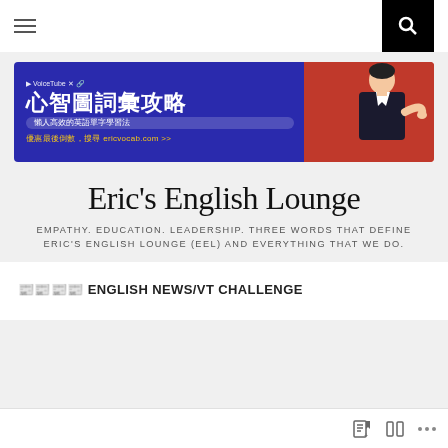Navigation bar with hamburger menu and search icon
[Figure (illustration): Promotional banner for '心智圖詞彙攻略' (Mind Map Vocabulary Strategy) from VoiceTube, featuring Chinese text and a man in a dark sweater against blue and red background. Website: ericvocab.com]
Eric's English Lounge
EMPATHY. EDUCATION. LEADERSHIP. THREE WORDS THAT DEFINE ERIC'S ENGLISH LOUNGE (EEL) AND EVERYTHING THAT WE DO.
📰📰📰📰 ENGLISH NEWS/VT CHALLENGE
Bottom toolbar with icons